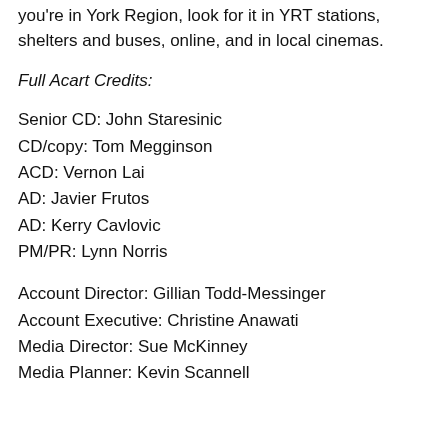you're in York Region, look for it in YRT stations, shelters and buses, online, and in local cinemas.
Full Acart Credits:
Senior CD:  John Staresinic
CD/copy:  Tom Megginson
ACD: Vernon Lai
AD:  Javier Frutos
AD:  Kerry Cavlovic
PM/PR:  Lynn Norris
Account Director:  Gillian Todd-Messinger
Account Executive:  Christine Anawati
Media Director:  Sue McKinney
Media Planner:  Kevin Scannell